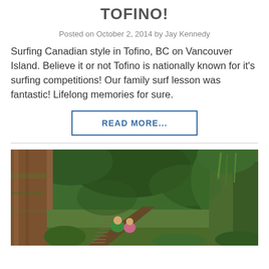TOFINO!
Posted on October 2, 2014 by Jay Kennedy
Surfing Canadian style in Tofino, BC on Vancouver Island. Believe it or not Tofino is nationally known for it's surfing competitions! Our family surf lesson was fantastic! Lifelong memories for sure.
READ MORE...
[Figure (photo): A forest path scene with a wooden boardwalk leading into lush green rainforest. A large tree trunk dominates the left foreground. Two children are visible in the middle distance walking toward the boardwalk.]